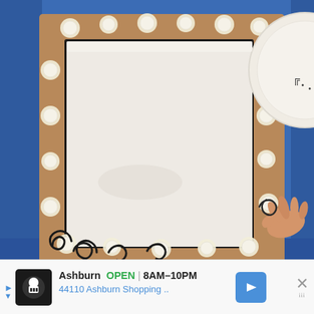[Figure (photo): A craft project photo showing a brown cardboard frame decorated with white polka dots and black swirl designs. The frame has a black border around a white paper center. A child's hand is visible in the lower right corner painting a swirl. A partial paper plate is visible on the right side. The scene is set on a blue tablecloth.]
Ashburn OPEN 8AM–10PM
44110 Ashburn Shopping ..